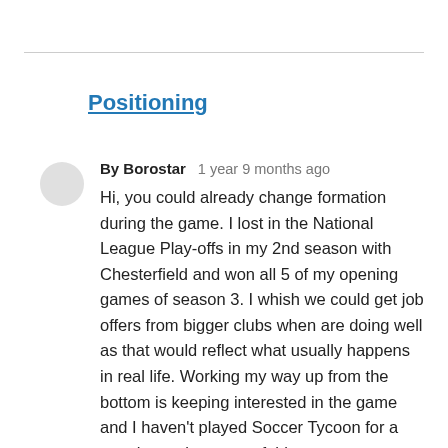Positioning
By Borostar   1 year 9 months ago
Hi, you could already change formation during the game. I lost in the National League Play-offs in my 2nd season with Chesterfield and won all 5 of my opening games of season 3. I whish we could get job offers from bigger clubs when are doing well as that would reflect what usually happens in real life. Working my way up from the bottom is keeping interested in the game and I haven't played Soccer Tycoon for a month now because of this game.